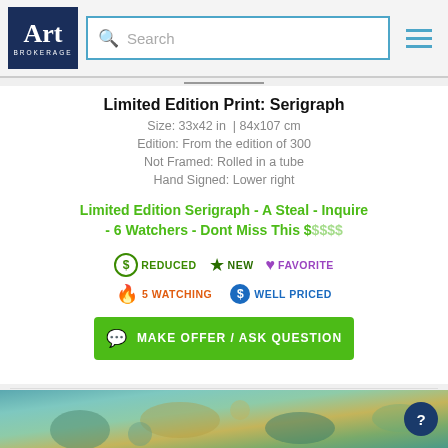[Figure (logo): Art Brokerage logo: white 'Art' text with 'BROKERAGE' below on dark navy background, next to a search bar and hamburger menu icon]
Limited Edition Print: Serigraph
Size: 33x42 in  | 84x107 cm
Edition: From the edition of 300
Not Framed: Rolled in a tube
Hand Signed: Lower right
Limited Edition Serigraph - A Steal - Inquire - 6 Watchers - Dont Miss This $$$$$
REDUCED | NEW | FAVORITE | 5 WATCHING | WELL PRICED
MAKE OFFER / ASK QUESTION
[Figure (photo): Bottom strip showing colorful abstract/impressionist artwork with blues, greens and golds]